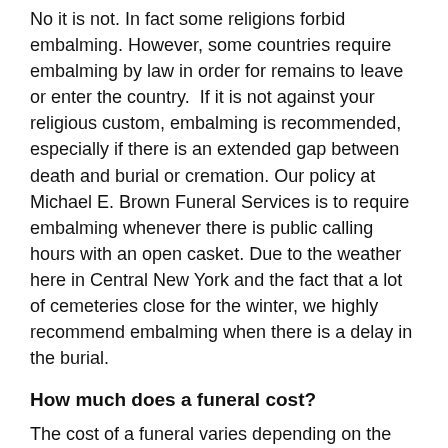No it is not. In fact some religions forbid embalming. However, some countries require embalming by law in order for remains to leave or enter the country.  If it is not against your religious custom, embalming is recommended, especially if there is an extended gap between death and burial or cremation. Our policy at Michael E. Brown Funeral Services is to require embalming whenever there is public calling hours with an open casket. Due to the weather here in Central New York and the fact that a lot of cemeteries close for the winter, we highly recommend embalming when there is a delay in the burial.
How much does a funeral cost?
The cost of a funeral varies depending on the wishes you have.  The average cost of an immediate cremation can range from $1,700 - $2,300 in the Central New York area. Our direct cremation fee starts at $1,695 and with our least expensive alternative container it is $1,820.